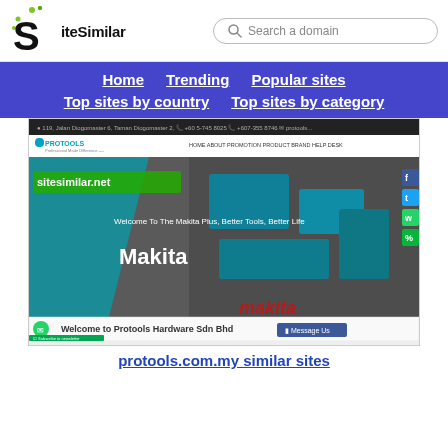[Figure (logo): SiteSimilar logo with stylized S and green dots]
Search a domain
Home  Trending  Popular sites  Top sites by country  Top sites by category
[Figure (screenshot): Screenshot of protools.com.my website showing Protools Hardware Sdn Bhd with Makita tools image and sitesimilar.net watermark]
protools.com.my similar sites